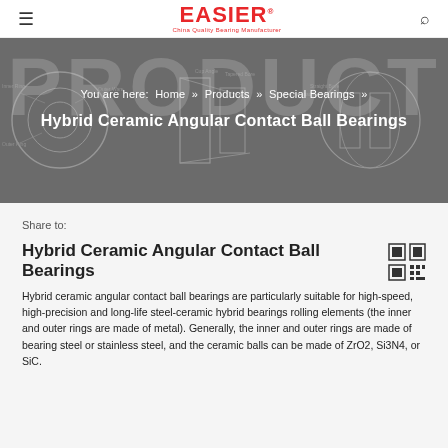EASIER - China Quality Bearing Manufacturer
[Figure (screenshot): Hero banner with engineering bearing diagrams overlay and PRODUCT text]
You are here: Home » Products » Special Bearings » Hybrid Ceramic Angular Contact Ball Bearings
Share to:
Hybrid Ceramic Angular Contact Ball Bearings
Hybrid ceramic angular contact ball bearings are particularly suitable for high-speed, high-precision and long-life steel-ceramic hybrid bearings rolling elements (the inner and outer rings are made of metal). Generally, the inner and outer rings are made of bearing steel or stainless steel, and the ceramic balls can be made of ZrO2, Si3N4, or SiC.